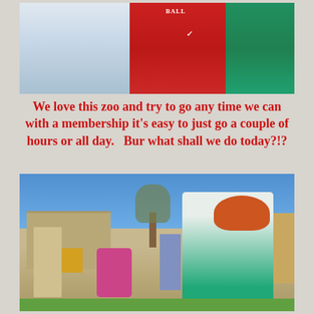[Figure (photo): Close-up selfie photo of three people wearing casual clothes — one in a light blue/grey shirt, one in a red Nike shirt, one in a teal/green top]
We love this zoo and try to go any time we can with a membership it's easy to just go a couple of hours or all day.   Bur what shall we do today?!?
[Figure (photo): Outdoor photo at a zoo on a sunny day with blue sky, bare trees, tan buildings, a woman with red hair looking down at something, and other visitors in the background near a stroller]